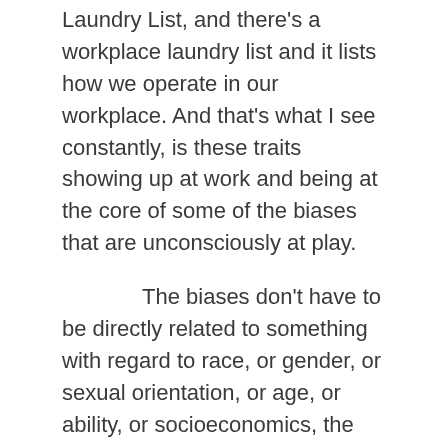Laundry List, and there's a workplace laundry list and it lists how we operate in our workplace. And that's what I see constantly, is these traits showing up at work and being at the core of some of the biases that are unconsciously at play.
The biases don't have to be directly related to something with regard to race, or gender, or sexual orientation, or age, or ability, or socioeconomics, the bias can just be about how I do behavior management based on how I was reared. And that's what I like to unpack with folks. And they're willing to do that work with me because we build our relationship, we make it a safe space. Some of the stuff that I do in advance is make it okay for the PD, the professional development